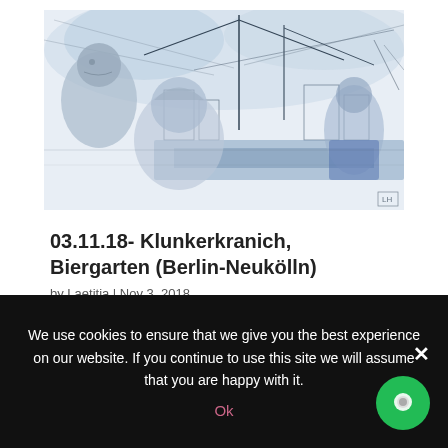[Figure (illustration): A blue-toned ink and watercolor urban sketch showing a rooftop view with cranes, city skyline, and figures in the foreground. The style is loose and expressive with blue-grey washes.]
03.11.18- Klunkerkranich, Biergarten (Berlin-Neukölln)
by Laetitia | Nov 3, 2018
03.11.2018- Klunkerkranich, Biergarten (Berlin-Neukölln) ©
We use cookies to ensure that we give you the best experience on our website. If you continue to use this site we will assume that you are happy with it.
Ok